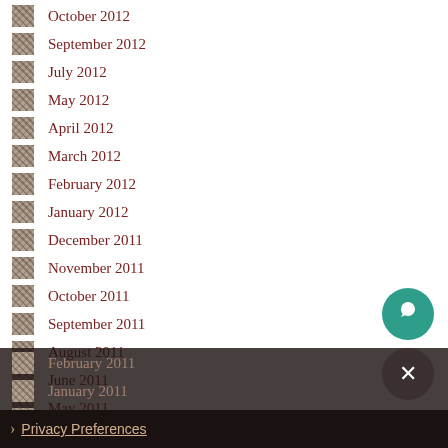October 2012
September 2012
July 2012
May 2012
April 2012
March 2012
February 2012
January 2012
December 2011
November 2011
October 2011
September 2011
August 2011
June 2011
May 2011
April 2011
February 2011
January 2011
November 2010
Privacy Preferences